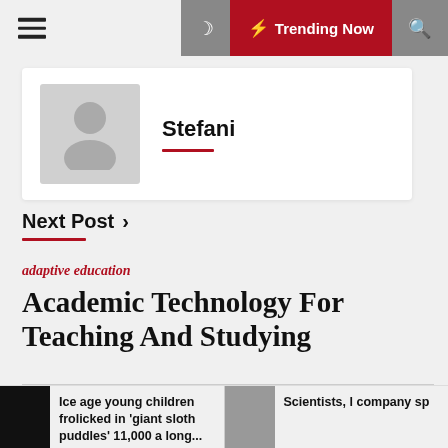Stefani — Navigation bar with hamburger menu, moon icon, Trending Now, search icon
[Figure (other): Author profile card showing a generic user avatar (silhouette on grey background) and the name 'Stefani' with a red underline]
Next Post ›
adaptive education
Academic Technology For Teaching And Studying
Mon Nov 18 , 2019
Computer electronics engineering expertise degree
Ice age young children frolicked in 'giant sloth puddles' 11,000 a long... | Scientists, l company sp